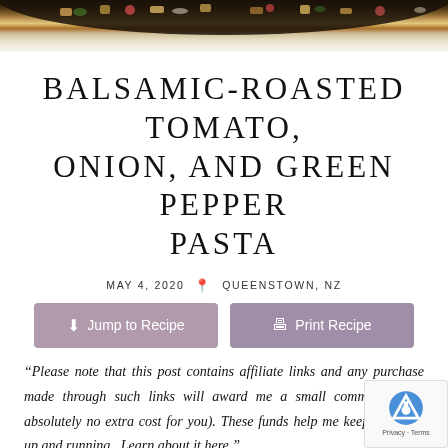[Figure (photo): Top portion of a pasta dish in a dark pan, cropped at the top of the page]
BALSAMIC-ROASTED TOMATO, ONION, AND GREEN PEPPER PASTA
MAY 4, 2020   📍 QUEENSTOWN, NZ
Jump to Recipe   Print Recipe
“Please note that this post contains affiliate links and any purchase made through such links will award me a small commission (at absolutely no extra cost for you). These funds help me keep this blog up and running.  Learn about it here.”